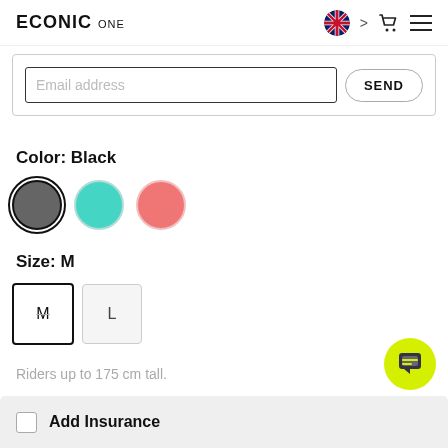ECONIC one
[Figure (screenshot): Email address input field with SEND button inside a bordered card]
Color: Black
[Figure (illustration): Three color swatches: dark grey (selected, outlined), teal, and pink/salmon]
Size: M
[Figure (illustration): Two size selector buttons: M (selected, dark border) and L (light background)]
Riders up to 175 cm tall.
Add Insurance